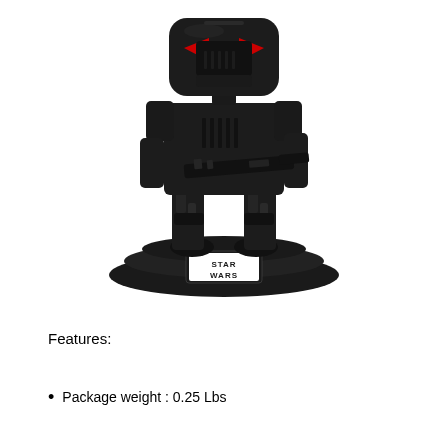[Figure (photo): Funko Pop Star Wars dark trooper figure in black armor with red eye details, holding a blaster, standing on a black tiered circular base with a Star Wars logo plaque]
Features:
Package weight : 0.25 Lbs